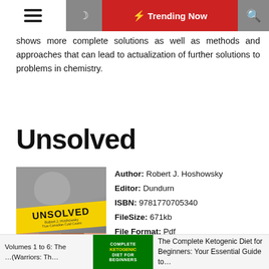Trending Now
shows more complete solutions as well as methods and approaches that can lead to actualization of further solutions to problems in chemistry.
Unsolved
[Figure (photo): Book cover of 'Unsolved: True Canadian Cold Cases' by Robert J. Hoshowsky, showing a skull image and photos of missing persons, with a yellow crime-scene-tape style banner.]
Author: Robert J. Hoshowsky
Editor: Dundurn
ISBN: 9781770705340
FileSize: 671kb
File Format: Pdf
Read: 671
READ BOOK
Volumes 1 to 6: The ... (Warriors: Th... | Complete Ketogenic Diet for Beginners | The Complete Ketogenic Diet for Beginners: Your Essential Guide to...